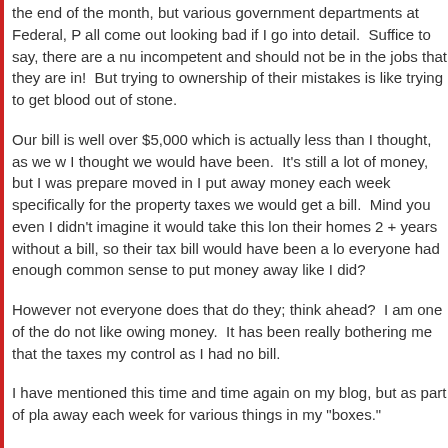the end of the month, but various government departments at Federal, P all come out looking bad if I go into detail.  Suffice to say, there are a nu incompetent and should not be in the jobs that they are in!  But trying to ownership of their mistakes is like trying to get blood out of stone.
Our bill is well over $5,000 which is actually less than I thought, as we w I thought we would have been.  It's still a lot of money, but I was prepare moved in I put away money each week specifically for the property taxes we would get a bill.  Mind you even I didn't imagine it would take this lon their homes 2 + years without a bill, so their tax bill would have been a lo everyone had enough common sense to put money away like I did?
However not everyone does that do they; think ahead?  I am one of the do not like owing money.  It has been really bothering me that the taxes my control as I had no bill.
I have mentioned this time and time again on my blog, but as part of pla away each week for various things in my "boxes."
I put $20 in my birthday box.
I put $20 in my Christmas box.
I put $50 in my other box.  My other box has been covering wedding's re another coming up in March.
These boxes are a life saver to me, as Christmas is taken care of more o